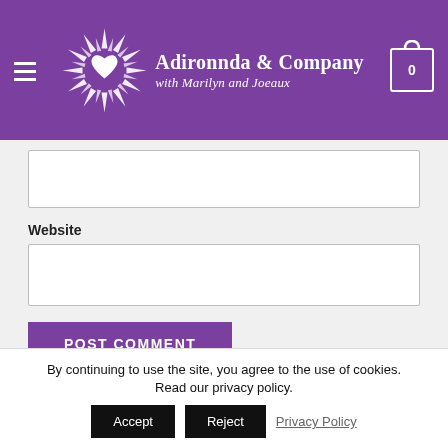[Figure (screenshot): Adironnda & Company website header with purple background, hamburger menu icon, logo (starburst with heart), site name 'Adironnda & Company with Marilyn and Joeaux', and shopping cart icon showing 0 items]
[Figure (screenshot): Web form with an empty text input field (no label visible, top of email or name field), then a 'Website' label with an empty text input field below it, and a purple 'POST COMMENT' button]
By continuing to use the site, you agree to the use of cookies. Read our privacy policy.